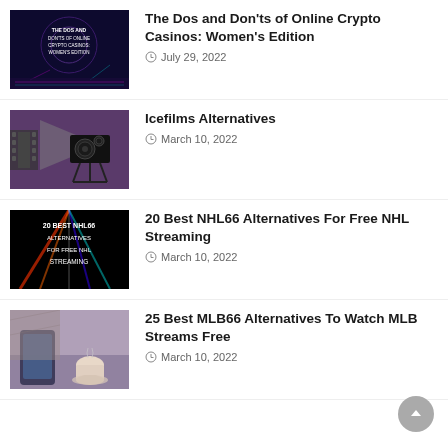[Figure (illustration): Thumbnail image for crypto casino article - dark blue/purple digital background with text overlay]
The Dos and Don'ts of Online Crypto Casinos: Women's Edition
July 29, 2022
[Figure (illustration): Thumbnail image showing a vintage film camera projector on purple background]
Icefilms Alternatives
March 10, 2022
[Figure (illustration): Thumbnail image for NHL66 article - black background with neon colored text and light beams]
20 Best NHL66 Alternatives For Free NHL Streaming
March 10, 2022
[Figure (photo): Thumbnail photo showing a person using a smartphone with coffee cup on table]
25 Best MLB66 Alternatives To Watch MLB Streams Free
March 10, 2022